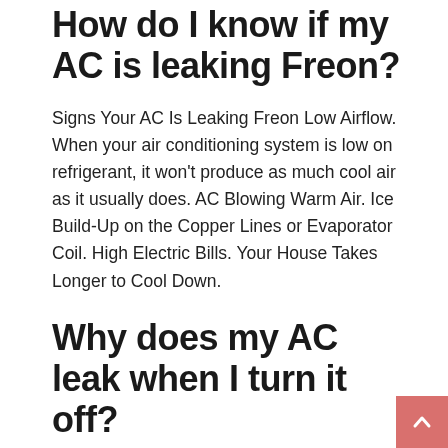How do I know if my AC is leaking Freon?
Signs Your AC Is Leaking Freon Low Airflow. When your air conditioning system is low on refrigerant, it won't produce as much cool air as it usually does. AC Blowing Warm Air. Ice Build-Up on the Copper Lines or Evaporator Coil. High Electric Bills. Your House Takes Longer to Cool Down.
Why does my AC leak when I turn it off?
If water's leaking from the front, you know your AC unit wasn't installed properly. Check